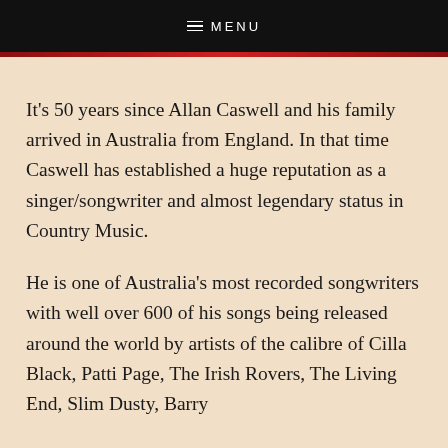≡ MENU
It's 50 years since Allan Caswell and his family arrived in Australia from England. In that time Caswell has established a huge reputation as a singer/songwriter and almost legendary status in Country Music.
He is one of Australia's most recorded songwriters with well over 600 of his songs being released around the world by artists of the calibre of Cilla Black, Patti Page, The Irish Rovers, The Living End, Slim Dusty, Barry